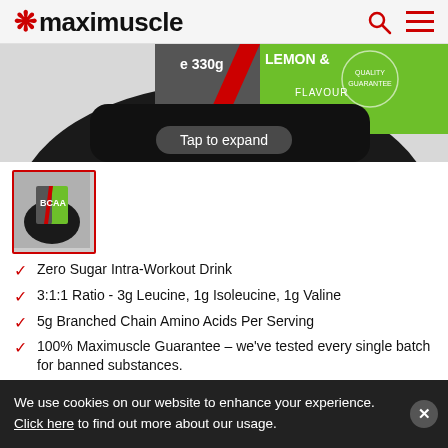maximuscle
[Figure (photo): Top portion of a black Maximuscle BCAA supplement tub (330g) with green and grey label showing 'LEMON & ...' flavor text. Cropped showing just the top/lid area of the container.]
Tap to expand
[Figure (photo): Thumbnail of Maximuscle BCAA supplement tub (330g) with green and grey label, red border indicating selected state.]
Zero Sugar Intra-Workout Drink
3:1:1 Ratio - 3g Leucine, 1g Isoleucine, 1g Valine
5g Branched Chain Amino Acids Per Serving
100% Maximuscle Guarantee - we've tested every single batch for banned substances.
Each batch is Informed Sport enhanced with LGC...
We use cookies on our website to enhance your experience. Click here to find out more about our usage.